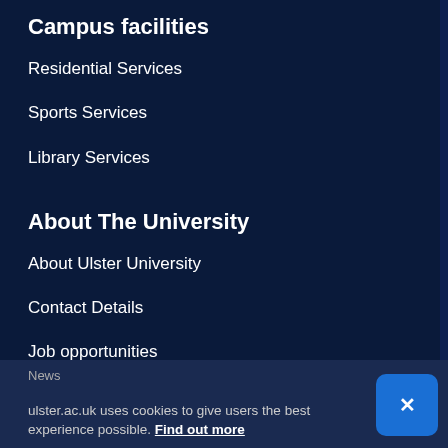Campus facilities
Residential Services
Sports Services
Library Services
About The University
About Ulster University
Contact Details
Job opportunities
Key calendar dates
Faculties
News
ulster.ac.uk uses cookies to give users the best experience possible. Find out more